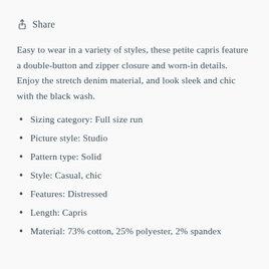Share
Easy to wear in a variety of styles, these petite capris feature a double-button and zipper closure and worn-in details. Enjoy the stretch denim material, and look sleek and chic with the black wash.
Sizing category: Full size run
Picture style: Studio
Pattern type: Solid
Style: Casual, chic
Features: Distressed
Length: Capris
Material: 73% cotton, 25% polyester, 2% spandex